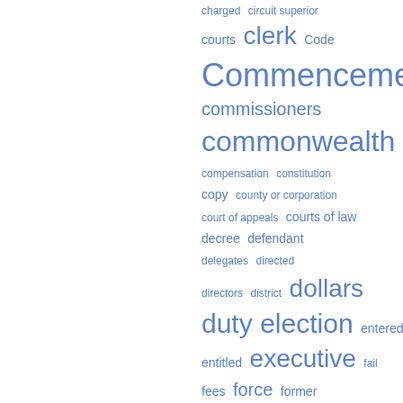[Figure (other): Tag cloud of legal terms in blue, varying font sizes indicating frequency. Terms include: charged, circuit superior, courts, clerk, Code, Commencement, commissioners, commonwealth, compensation, constitution, copy, county or corporation, court of appeals, courts of law, decree, defendant, delegates, directed, directors, district, dollars, duty, election, entered, entitled, executive, fail, fees, force, former, further enacted, give, given, governor, granted, held, hereafter, hereby, holding, hundred, interest, issue, judge, judgment]